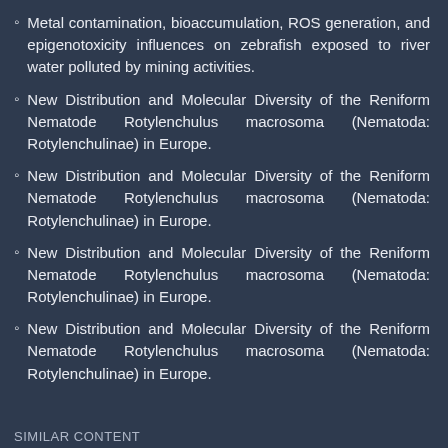Metal contamination, bioaccumulation, ROS generation, and epigenotoxicity influences on zebrafish exposed to river water polluted by mining activities.
New Distribution and Molecular Diversity of the Reniform Nematode Rotylenchulus macrosoma (Nematoda: Rotylenchulinae) in Europe.
New Distribution and Molecular Diversity of the Reniform Nematode Rotylenchulus macrosoma (Nematoda: Rotylenchulinae) in Europe.
New Distribution and Molecular Diversity of the Reniform Nematode Rotylenchulus macrosoma (Nematoda: Rotylenchulinae) in Europe.
New Distribution and Molecular Diversity of the Reniform Nematode Rotylenchulus macrosoma (Nematoda: Rotylenchulinae) in Europe.